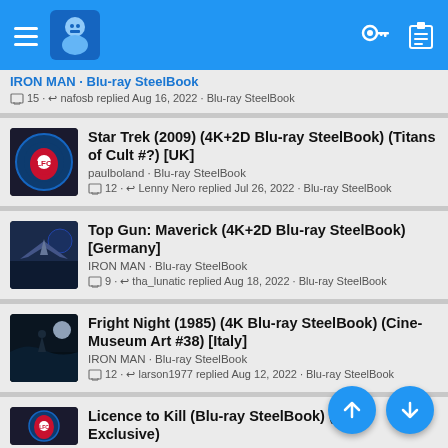App header with navigation menu, avatar, key icon, clipboard icon
IRON MAN · Blu-ray SteelBook
💬 15 · ↩ nafosb replied Aug 16, 2022 · Blu-ray SteelBook
Star Trek (2009) (4K+2D Blu-ray SteelBook) (Titans of Cult #?) [UK]
paulboland · Blu-ray SteelBook
💬 12 · ↩ Lenny Nero replied Jul 26, 2022 · Blu-ray SteelBook
Top Gun: Maverick (4K+2D Blu-ray SteelBook) [Germany]
IRON MAN · Blu-ray SteelBook
💬 9 · ↩ tha_lunatic replied Aug 18, 2022 · Blu-ray SteelBook
Fright Night (1985) (4K Blu-ray SteelBook) (Cine-Museum Art #38) [Italy]
IRON MAN · Blu-ray SteelBook
💬 12 · ↩ larson1977 replied Aug 12, 2022 · Blu-ray SteelBook
Licence to Kill (Blu-ray SteelBook) (Zawi Exclusive)